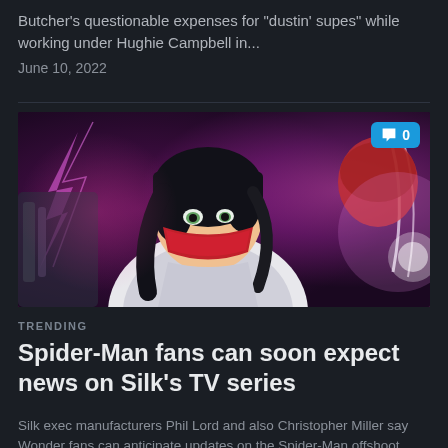Butcher's questionable expenses for "dustin' supes" while working under Hughie Campbell in...
June 10, 2022
[Figure (illustration): Comic book style illustration of Silk (a female superhero with black hair and red mask/face covering) in the foreground with another character in the background, featuring purple, pink and red color palette. A blue comment badge showing '0' is in the top right corner.]
TRENDING
Spider-Man fans can soon expect news on Silk's TV series
Silk exec manufacturers Phil Lord and also Christopher Miller say Wonder fans can anticipate updates on the Spider-Man offshoot collection